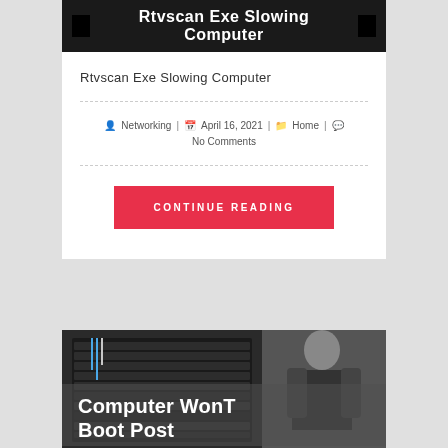Rtvscan Exe Slowing Computer
Rtvscan Exe Slowing Computer
Networking | April 16, 2021 | Home | No Comments
CONTINUE READING
[Figure (photo): Server rack with person in background, with overlay text 'Computer WonT Boot Post']